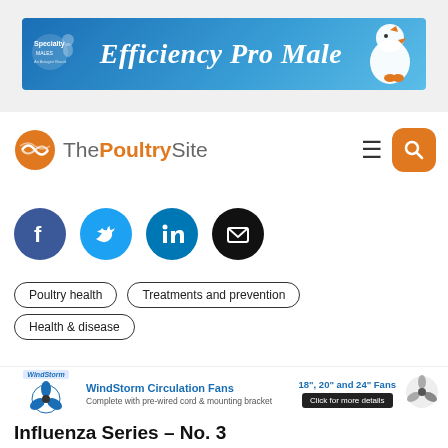[Figure (infographic): Specialty Males 'Efficiency Pro Male' advertisement banner with blue gradient background and white chicken graphic]
[Figure (logo): The Poultry Site logo with orange globe icon, navigation hamburger menu and orange search button]
[Figure (infographic): Social media share icons: Facebook (dark blue), Twitter (light blue), LinkedIn (teal), Email (black)]
Poultry health
Treatments and prevention
Health & disease
[Figure (infographic): WindStorm Circulation Fans advertisement: 18", 20" and 24" Fans, Complete with pre-wired cord & mounting bracket, Click for more details]
Influenza Series – No. 3